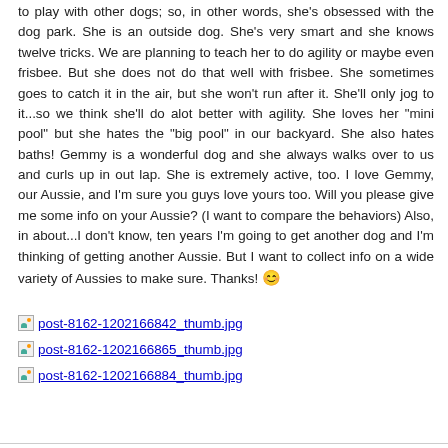to play with other dogs; so, in other words, she's obsessed with the dog park. She is an outside dog. She's very smart and she knows twelve tricks. We are planning to teach her to do agility or maybe even frisbee. But she does not do that well with frisbee. She sometimes goes to catch it in the air, but she won't run after it. She'll only jog to it...so we think she'll do alot better with agility. She loves her "mini pool" but she hates the "big pool" in our backyard. She also hates baths! Gemmy is a wonderful dog and she always walks over to us and curls up in out lap. She is extremely active, too. I love Gemmy, our Aussie, and I'm sure you guys love yours too. Will you please give me some info on your Aussie? (I want to compare the behaviors) Also, in about...I don't know, ten years I'm going to get another dog and I'm thinking of getting another Aussie. But I want to collect info on a wide variety of Aussies to make sure. Thanks! 😊
[Figure (photo): Thumbnail image link: post-8162-1202166842_thumb.jpg]
[Figure (photo): Thumbnail image link: post-8162-1202166865_thumb.jpg]
[Figure (photo): Thumbnail image link: post-8162-1202166884_thumb.jpg]